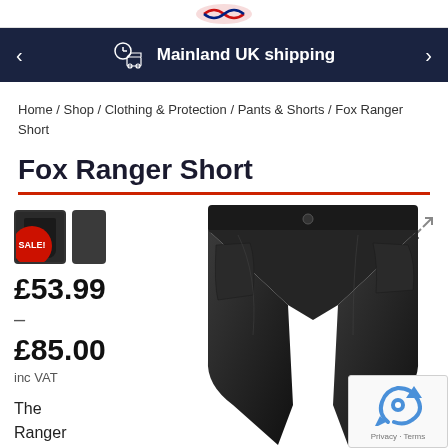Mainland UK shipping
Home / Shop / Clothing & Protection / Pants & Shorts / Fox Ranger Short
Fox Ranger Short
[Figure (photo): Thumbnail images of Fox Ranger Short in black/charcoal, with SALE! badge overlay]
£53.99 – £85.00 inc VAT
The Ranger mountain
[Figure (photo): Fox Ranger Short product photo — dark olive/black cycling shorts on white background, waist up view showing button, pockets and fabric texture]